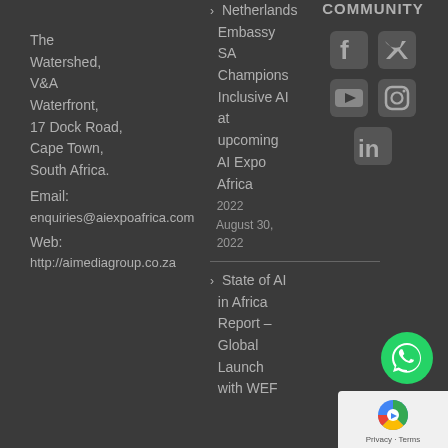COMMUNITY
The Watershed, V&A Waterfront, 17 Dock Road, Cape Town, South Africa.
Email:
enquiries@aiexpoafrica.com
Web:
http://aimediagroup.co.za
Netherlands Embassy SA Champions Inclusive AI at upcoming AI Expo Africa 2022 August 30, 2022
State of AI in Africa Report – Global Launch with WEF
[Figure (infographic): Social media icons: Facebook, Twitter, YouTube, Instagram, LinkedIn]